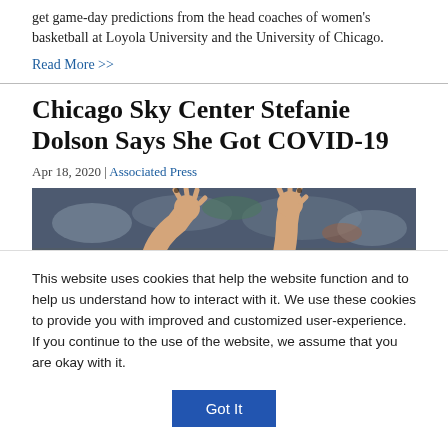get game-day predictions from the head coaches of women's basketball at Loyola University and the University of Chicago.
Read More >>
Chicago Sky Center Stefanie Dolson Says She Got COVID-19
Apr 18, 2020 | Associated Press
[Figure (photo): Photo of a basketball player with both arms raised above head, taken at a game.]
This website uses cookies that help the website function and to help us understand how to interact with it. We use these cookies to provide you with improved and customized user-experience. If you continue to the use of the website, we assume that you are okay with it.
Got It